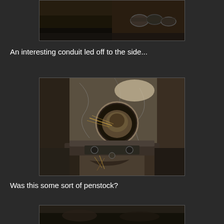[Figure (photo): Partial top photo showing dark rocky ground with rusted metal pipes or conduit hardware]
An interesting conduit led off to the side...
[Figure (photo): Photo of a circular pipe opening or penstock embedded in a rocky stone wall, with rusted metal gate/valve hardware in the foreground and debris around it]
Was this some sort of penstock?
[Figure (photo): Partial bottom photo showing dark rocky surface, partially visible]